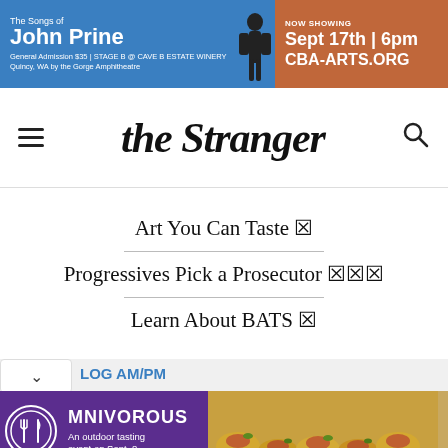[Figure (infographic): Advertisement banner for 'The Songs of John Prine' at Stage B @ Cave B Estate Winery, Quincy WA. Now Showing Sept 17th 6pm. General Admission $35. CBA-ARTS.ORG]
the Stranger
Art You Can Taste 🍽
Progressives Pick a Prosecutor 🗳️
Learn About BATS 🦇
[Figure (infographic): Omnivorous ad - An outdoor tasting event on Sept. 8, featuring food photo]